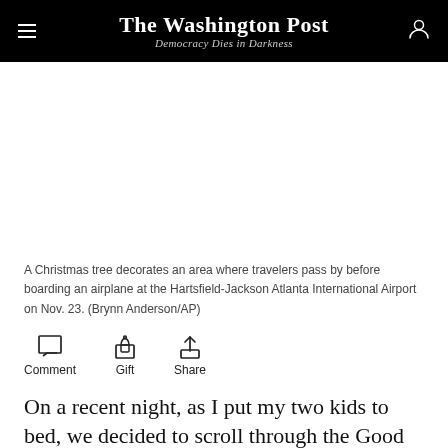The Washington Post — Democracy Dies in Darkness
[Figure (photo): Blank/white image placeholder where a photo of a Christmas tree at Hartsfield-Jackson Atlanta International Airport would appear]
A Christmas tree decorates an area where travelers pass by before boarding an airplane at the Hartsfield-Jackson Atlanta International Airport on Nov. 23. (Brynn Anderson/AP)
[Figure (infographic): Action bar with Comment, Gift, and Share icons]
On a recent night, as I put my two kids to bed, we decided to scroll through the Good News Movement